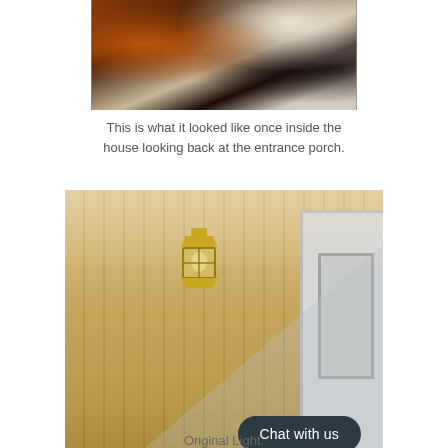[Figure (photo): Interior view looking back at entrance porch, showing dark room with curtains and clothing]
This is what it looked like once inside the house looking back at the entrance porch.
[Figure (photo): Wooden paneled wall with a brass lantern light fixture mounted on it, and a white door/window frame visible on the right side]
Chat with us
Original Light.